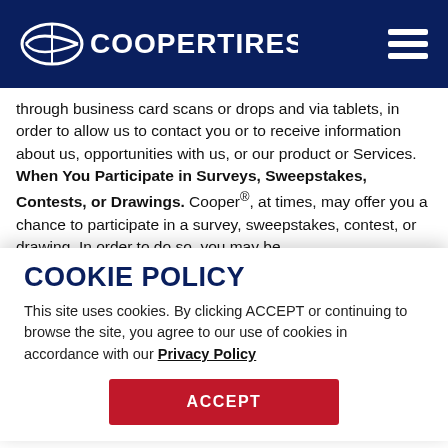Cooper Tires
through business card scans or drops and via tablets, in order to allow us to contact you or to receive information about us, opportunities with us, or our product or Services. When You Participate in Surveys, Sweepstakes, Contests, or Drawings. Cooper®, at times, may offer you a chance to participate in a survey, sweepstakes, contest, or drawing. In order to do so, you may be
COOKIE POLICY
This site uses cookies. By clicking ACCEPT or continuing to browse the site, you agree to our use of cookies in accordance with our Privacy Policy
ACCEPT